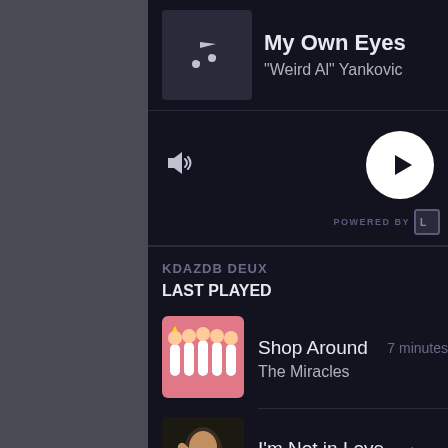My Own Eyes
"Weird Al" Yankovic
POWERED BY
KDAZDB DEUX
LAST PLAYED
Shop Around
The Miracles
7 minutes
I'm Not in Love
Will to Power
11 minutes